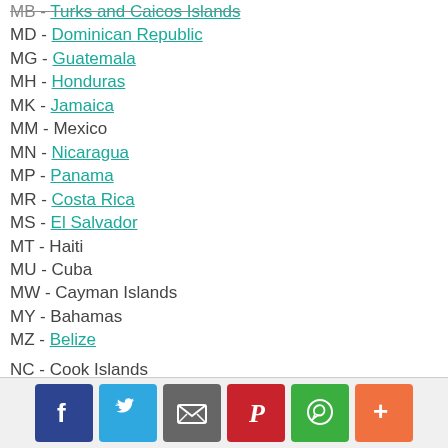MB - Turks and Caicos Islands
MD - Dominican Republic
MG - Guatemala
MH - Honduras
MK - Jamaica
MM - Mexico
MN - Nicaragua
MP - Panama
MR - Costa Rica
MS - El Salvador
MT - Haiti
MU - Cuba
MW - Cayman Islands
MY - Bahamas
MZ - Belize
NC - Cook Islands
NF - Fiji and Tonga
NG - Kiribati and Tuvalu
NI - Niue
NL - Wallis and Futuna
NS - Samoa
NT - ...